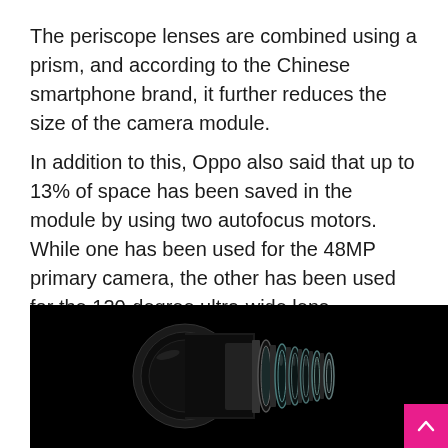The periscope lenses are combined using a prism, and according to the Chinese smartphone brand, it further reduces the size of the camera module.
In addition to this, Oppo also said that up to 13% of space has been saved in the module by using two autofocus motors. While one has been used for the 48MP primary camera, the other has been used for the 120-degree ultra-wide lens.
[Figure (photo): Dark background photo showing a periscope camera lens module with multiple glass lens elements arranged in a horizontal sequence, from a large black barrel on the left to several smaller transparent circular lens elements on the right.]